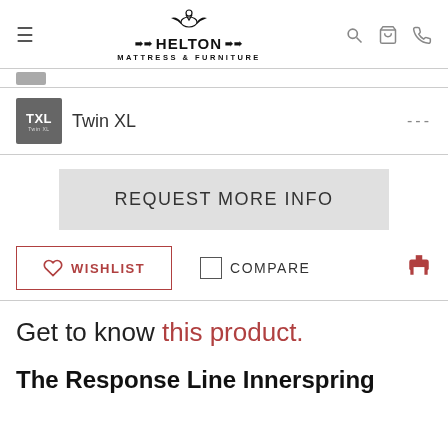Helton Mattress & Furniture - navigation header
Twin XL  ---
REQUEST MORE INFO
WISHLIST  COMPARE
Get to know this product.
The Response Line Innerspring